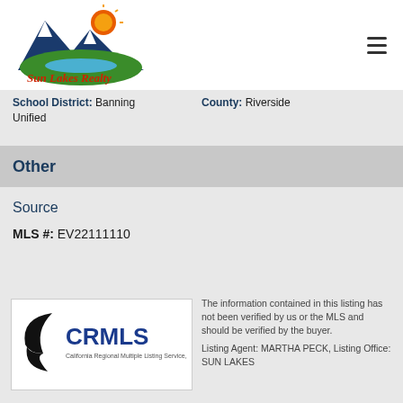[Figure (logo): Sun Lakes Realty logo with mountain and sun imagery]
School District: Banning Unified   County: Riverside
Other
Source
MLS #: EV22111110
[Figure (logo): CRMLS - California Regional Multiple Listing Service, Inc. logo]
The information contained in this listing has not been verified by us or the MLS and should be verified by the buyer. Listing Agent: MARTHA PECK, Listing Office: SUN LAKES